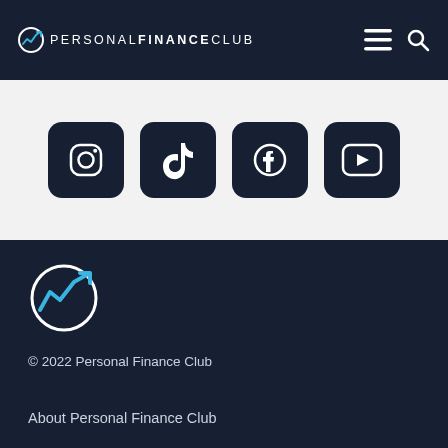PERSONAL FINANCE CLUB
[Figure (logo): Social media icons: Instagram, TikTok, Facebook, YouTube — dark navy rounded square buttons on light background]
[Figure (logo): Personal Finance Club logo — circular chart icon with upward arrow in blue/white on dark navy background]
© 2022 Personal Finance Club
About Personal Finance Club